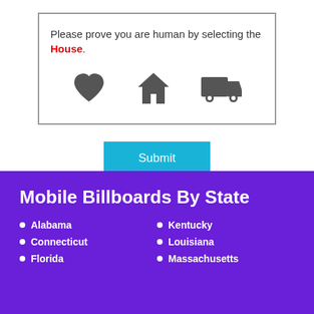Please prove you are human by selecting the House.
[Figure (illustration): Three icons: a heart, a house, and a delivery truck, displayed in a CAPTCHA selection box]
[Figure (other): Submit button in cyan/teal color]
Mobile Billboards By State
Alabama
Kentucky
Connecticut
Louisiana
Florida
Massachusetts